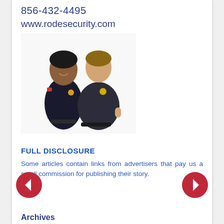856-432-4495
www.rodesecurity.com
[Figure (photo): Two security officers in dark uniforms posing together — a woman with arms crossed on the left and a man with hand on hip on the right.]
FULL DISCLOSURE
Some articles contain links from advertisers that pay us a small commission for publishing their story.
[Figure (other): Left navigation arrow (red circle with white left arrow)]
[Figure (other): Right navigation arrow (red circle with white right arrow)]
Archives